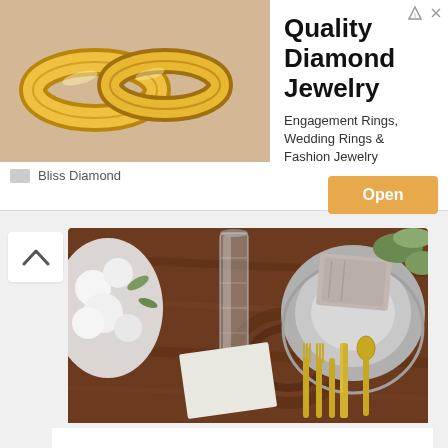[Figure (advertisement): Ad banner for Bliss Diamond jewelry showing gold wedding rings image, title 'Quality Diamond Jewelry', subtitle 'Engagement Rings, Wedding Rings & Fashion Jewelry', and an orange Open button]
[Figure (photo): Photo of an elegant table setting with grey plates, grey napkins, crystal glasses, gold cutlery on a dark wooden table with white flowers]
The place settings were done with grey plates, grey napkins and elegant glasses, pure elegance here